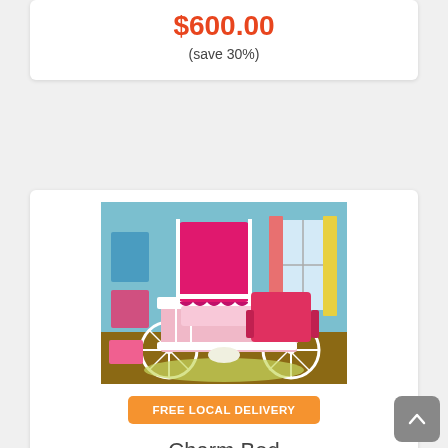$600.00
(save 30%)
[Figure (photo): A white princess carriage-style bed with pink canopy and bedding in a colorful children's bedroom setting.]
FREE LOCAL DELIVERY
Charm Bed
Original Price $917.00
$642.00